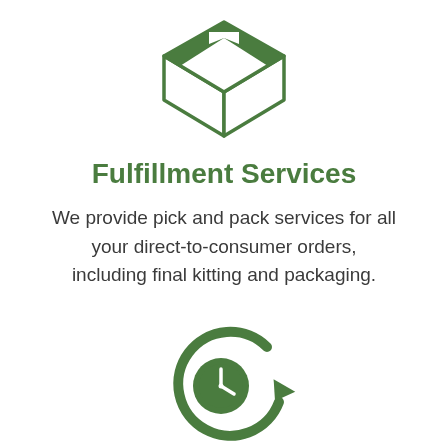[Figure (illustration): Green outline icon of a cardboard box with tape strip on top, isometric style]
Fulfillment Services
We provide pick and pack services for all your direct-to-consumer orders, including final kitting and packaging.
[Figure (illustration): Green icon of a clock with a circular arrow around it, indicating a refresh or repeat cycle]